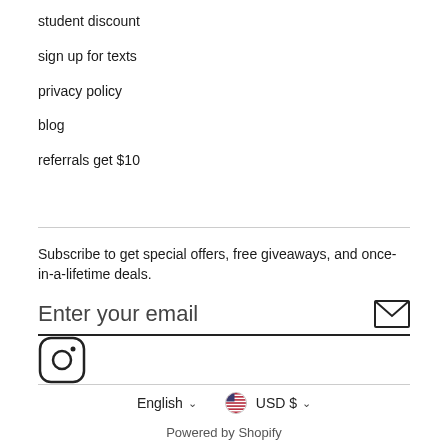student discount
sign up for texts
privacy policy
blog
referrals get $10
Subscribe to get special offers, free giveaways, and once-in-a-lifetime deals.
Enter your email
[Figure (other): Instagram icon (rounded square with camera symbol)]
English ∨   USD $ ∨
Powered by Shopify